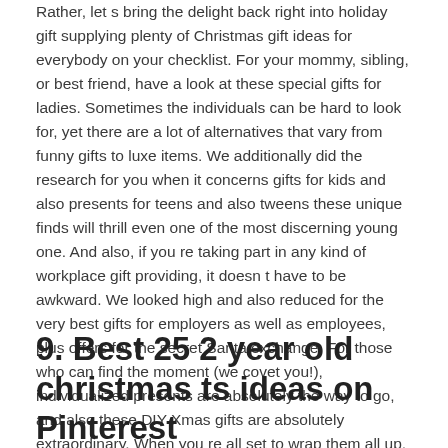Rather, let s bring the delight back right into holiday gift supplying plenty of Christmas gift ideas for everybody on your checklist. For your mommy, sibling, or best friend, have a look at these special gifts for ladies. Sometimes the individuals can be hard to look for, yet there are a lot of alternatives that vary from funny gifts to luxe items. We additionally did the research for you when it concerns gifts for kids and also presents for teens and also tweens these unique finds will thrill even one of the most discerning young one. And also, if you re taking part in any kind of workplace gift providing, it doesn t have to be awkward. We looked high and also reduced for the very best gifts for employers as well as employees, plus offers for the secret Santa exchange. For those who can find the moment (we covet you!), individualized presents are absolutely the way to go, and also these DIY Xmas gifts are absolutely extraordinary. When you re all set to wrap them all up, make your present stand apart with these unique ways to wrap a gift.
9. Best 25 2 year old christmas ts ideas on Pinterest